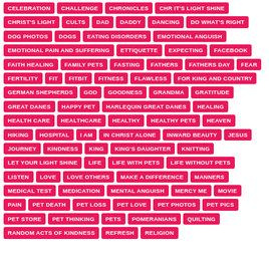[Figure (infographic): Tag cloud with pink filled and pink-outlined rectangular tags showing various topic labels in uppercase bold text]
CHR IT'S LIGHT SHINE
CHRIST'S LIGHT
CULTS
DAD
DADDY
DANCING
DO WHAT'S RIGHT
DOG PHOTOS
DOGS
EATING DISORDERS
EMOTIONAL ANGUISH
EMOTIONAL PAIN AND SUFFERING
ETTIQUETTE
EXPECTING
FACEBOOK
FAITH HEALING
FAMILY PETS
FASTING
FATHERS
FATHERS DAY
FEAR
FERTILITY
FIT
FITBIT
FITNESS
FLAWLESS
FOR KING AND COUNTRY
GERMAN SHEPHERDS
GOD
GOODNESS
GRANDMA
GRATITUDE
GREAT DANES
HAPPY PET
HARLEQUIN GREAT DANES
HEALING
HEALTH CARE
HEALTHCARE
HEALTHY
HEALTHY PETS
HEAVEN
HIKING
HOSPITAL
I AM
IN CHRIST ALONE
INWARD BEAUTY
JESUS
JOURNEY
KINDNESS
KING
KING'S DAUGHTER
KNITTING
LET YOUR LIGHT SHINE
LIFE
LIFE WITH PETS
LIFE WITHOUT PETS
LISTEN
LOVE
LOVE OTHERS
MAKE A DIFFERENCE
MANNERS
MEDICAL TEST
MEDICATION
MENTAL ANGUISH
MERCY ME
MOVIE
PAIN
PET DEATH
PET LOSS
PET LOVE
PET PHOTOS
PET PICS
PET STORE
PET THINKING
PETS
POMERANIANS
QUILTING
RANDOM ACTS OF KINDNESS
REFRESH
RELIGION